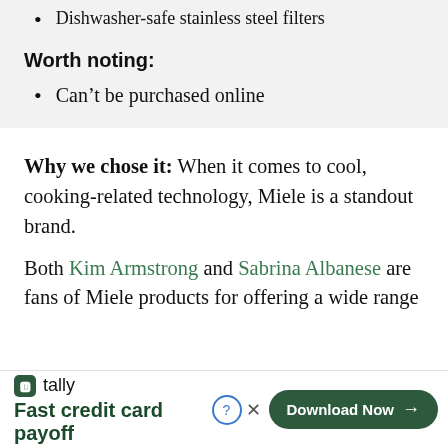Dishwasher-safe stainless steel filters
Worth noting:
Can't be purchased online
Why we chose it: When it comes to cool, cooking-related technology, Miele is a standout brand.
Both Kim Armstrong and Sabrina Albanese are fans of Miele products for offering a wide range of...
[Figure (other): Tally app advertisement banner: 'Fast credit card payoff' with Download Now button]